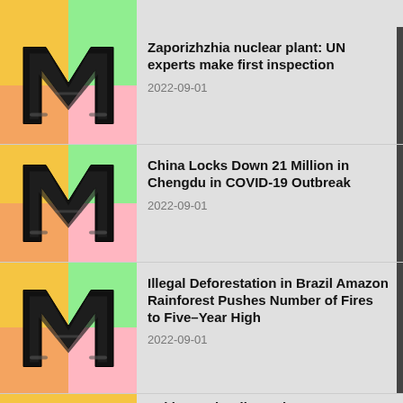[Figure (logo): Colorful block logo with bold M letter icon, article thumbnail]
Zaporizhzhia nuclear plant: UN experts make first inspection
2022-09-01
[Figure (logo): Colorful block logo with bold M letter icon, article thumbnail]
China Locks Down 21 Million in Chengdu in COVID-19 Outbreak
2022-09-01
[Figure (logo): Colorful block logo with bold M letter icon, article thumbnail]
Illegal Deforestation in Brazil Amazon Rainforest Pushes Number of Fires to Five-Year High
2022-09-01
Pakistan Flooding Bringa...